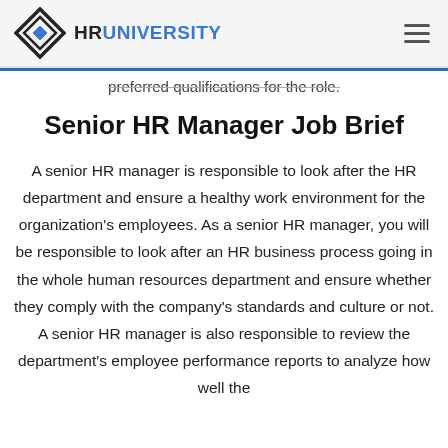HR UNIVERSITY
preferred qualifications for the role.
Senior HR Manager Job Brief
A senior HR manager is responsible to look after the HR department and ensure a healthy work environment for the organization's employees. As a senior HR manager, you will be responsible to look after an HR business process going in the whole human resources department and ensure whether they comply with the company's standards and culture or not. A senior HR manager is also responsible to review the department's employee performance reports to analyze how well the